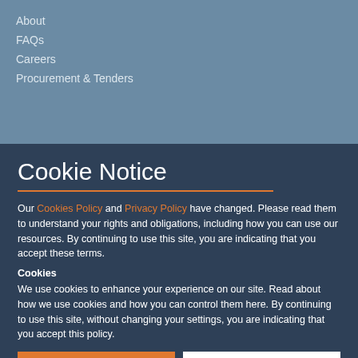About
FAQs
Careers
Procurement & Tenders
Cookie Notice
Our Cookies Policy and Privacy Policy have changed. Please read them to understand your rights and obligations, including how you can use our resources. By continuing to use this site, you are indicating that you accept these terms.
Cookies
We use cookies to enhance your experience on our site. Read about how we use cookies and how you can control them here. By continuing to use this site, without changing your settings, you are indicating that you accept this policy.
ACCEPT ALL COOKIES
SET PREFERENCES